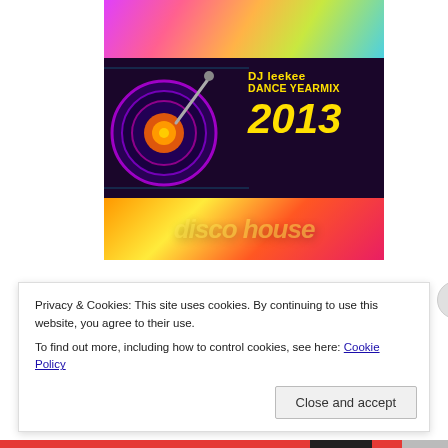[Figure (illustration): DJ leekee Dance Yearmix 2013 album/mix cover image. Top section has pink/purple/colorful gradient background. Middle dark section shows DJ turntable equipment on left and yellow bold text 'DJ leekee DANCE YEARMIX 2013' on right. Bottom section shows colorful disco/house text overlay.]
Privacy & Cookies: This site uses cookies. By continuing to use this website, you agree to their use.
To find out more, including how to control cookies, see here: Cookie Policy